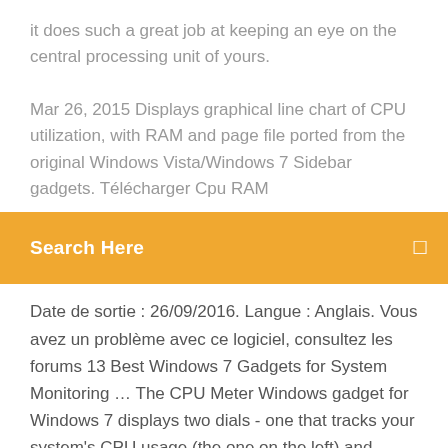it does such a great job at keeping an eye on the central processing unit of yours.
Mar 26, 2015 Displays graphical line chart of CPU utilization, with RAM and page file ported from the original Windows Vista/Windows 7 Sidebar gadgets. Télécharger Cpu RAM
Search Here
Date de sortie : 26/09/2016. Langue : Anglais. Vous avez un problème avec ce logiciel, consultez les forums 13 Best Windows 7 Gadgets for System Monitoring … The CPU Meter Windows gadget for Windows 7 displays two dials - one that tracks your system's CPU usage (the one on the left) and another that tracks physical memory usage, both in percentage format. If you like to keep track of how much memory and CPU is being used at … Télécharger gadget CPU RAM Speed pour Windows 7 et Windows 8